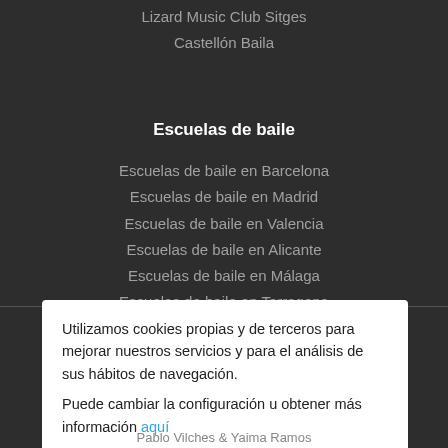Lizard Music Club Sitges
Castellón Baila
Escuelas de baile
Escuelas de baile en Barcelona
Escuelas de baile en Madrid
Escuelas de baile en Valencia
Escuelas de baile en Alicante
Escuelas de baile en Málaga
Escuelas de baile en Tarragona
Utilizamos cookies propias y de terceros para mejorar nuestros servicios y para el análisis de sus hábitos de navegación.
Puede cambiar la configuración u obtener más información aquí
ACEPTAR
Pablo Vilches & Yaima Ramos